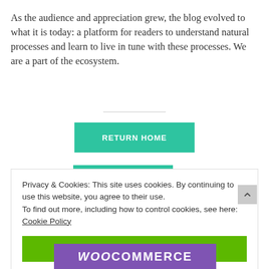As the audience and appreciation grew, the blog evolved to what it is today: a platform for readers to understand natural processes and learn to live in tune with these processes. We are a part of the ecosystem.
RETURN HOME
Privacy & Cookies: This site uses cookies. By continuing to use this website, you agree to their use.
To find out more, including how to control cookies, see here: Cookie Policy
CLOSE AND ACCEPT
[Figure (logo): WooCommerce logo on purple background]